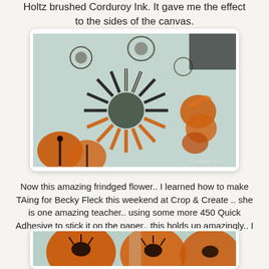Holtz brushed Corduroy Ink. It gave me the effect to the sides of the canvas.
[Figure (photo): Close-up photo of a decorative canvas with patterned scrapbook paper, a fringed flower made from striped and orange paper, orange fabric roses, and floral embellishments.]
Now this amazing frindged flower.. I learned how to make TAing for Becky Fleck this weekend at Crop & Create .. she is one amazing teacher.. using some more 450 Quick Adhesive to stick it on the paper.. this holds up amazingly.. I also made some smaller mum style fringed flowers..
[Figure (photo): Partial photo showing orange poppy flowers with dark centers on a decorative paper background.]